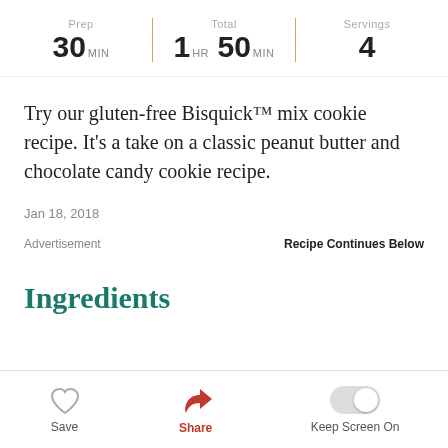Prep 30 MIN | Total 1 HR 50 MIN | Servings 4
Try our gluten-free Bisquick™ mix cookie recipe. It's a take on a classic peanut butter and chocolate candy cookie recipe.
Jan 18, 2018
Advertisement
Recipe Continues Below
Ingredients
Save   Share   Keep Screen On